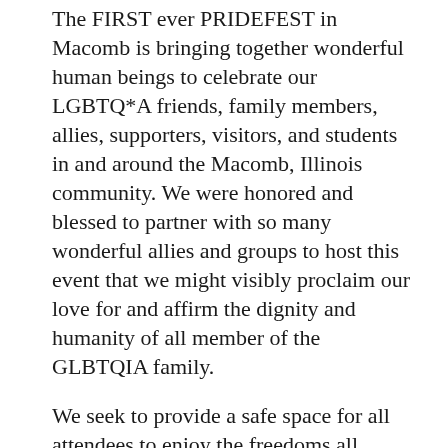The FIRST ever PRIDEFEST in Macomb is bringing together wonderful human beings to celebrate our LGBTQ*A friends, family members, allies, supporters, visitors, and students in and around the Macomb, Illinois community. We were honored and blessed to partner with so many wonderful allies and groups to host this event that we might visibly proclaim our love for and affirm the dignity and humanity of all member of the GLBTQIA family.
We seek to provide a safe space for all attendees to enjoy the freedoms all should enjoy with gender expression/gender identity until such time that every space is made safe and validating for all members of our community.
We proudly welcome McDonough County Clergy members in attendance, knowing far too many members of their churches are living in hiding from